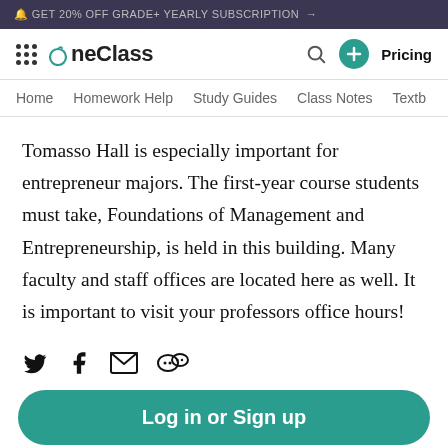🔔 GET 20% OFF GRADE+ YEARLY SUBSCRIPTION →
[Figure (logo): OneClass logo with hamburger menu, search icon, plus button, and Pricing link]
Home | Homework Help | Study Guides | Class Notes | Textb...
Tomasso Hall is especially important for entrepreneur majors. The first-year course students must take, Foundations of Management and Entrepreneurship, is held in this building. Many faculty and staff offices are located here as well. It is important to visit your professors office hours!
[Figure (infographic): Social sharing icons: Twitter, Facebook, Email, WeChat]
Log in or Sign up